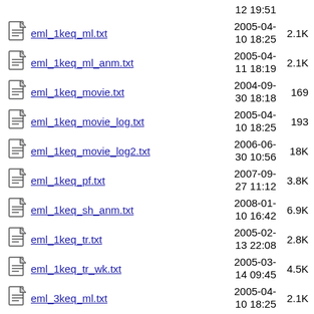eml_1keq_ml.txt  2005-04-10 18:25  2.1K
eml_1keq_ml_anm.txt  2005-04-11 18:19  2.1K
eml_1keq_movie.txt  2004-09-30 18:18  169
eml_1keq_movie_log.txt  2005-04-10 18:25  193
eml_1keq_movie_log2.txt  2006-06-30 10:56  18K
eml_1keq_pf.txt  2007-09-27 11:12  3.8K
eml_1keq_sh_anm.txt  2008-01-10 16:42  6.9K
eml_1keq_tr.txt  2005-02-13 22:08  2.8K
eml_1keq_tr_wk.txt  2005-03-14 09:45  4.5K
eml_3keq_ml.txt  2005-04-10 18:25  2.1K
eml_3keq_ml_anm.txt  2005-04-11 18:20  2.1K